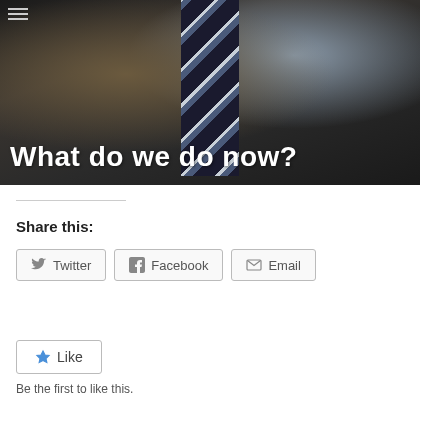[Figure (photo): A man in a dark suit jacket with a blue and black striped tie, hands on hips, photographed from chest down. White bold text overlaid at the bottom reads 'What do we do now?'. A hamburger menu icon appears in the top-left corner.]
Share this:
Twitter  Facebook  Email
Like
Be the first to like this.